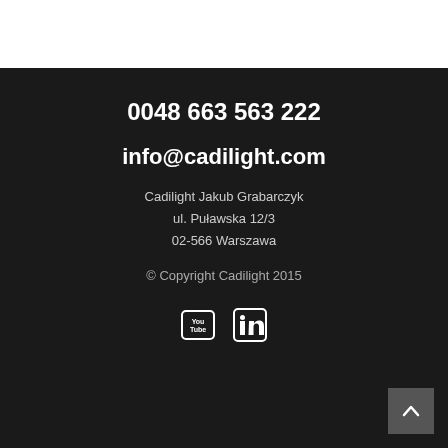0048 663 563 222
info@cadilight.com
Cadilight Jakub Grabarczyk
ul. Puławska 12/3
02-566 Warszawa
© Copyright Cadilight 2015
[Figure (logo): YouTube and LinkedIn social media icons in white on dark background]
[Figure (other): Back to top arrow button in bottom right corner]